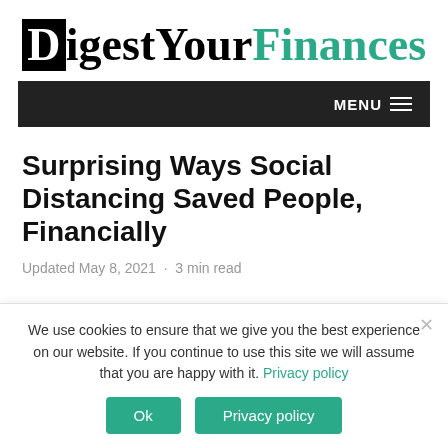[Figure (logo): DigestYourFinances logo with black boxed D and teal Finances text]
MENU
Surprising Ways Social Distancing Saved People, Financially
Updated May 8, 2021 · 3 min read
We use cookies to ensure that we give you the best experience on our website. If you continue to use this site we will assume that you are happy with it. Privacy policy
Ok    Privacy policy